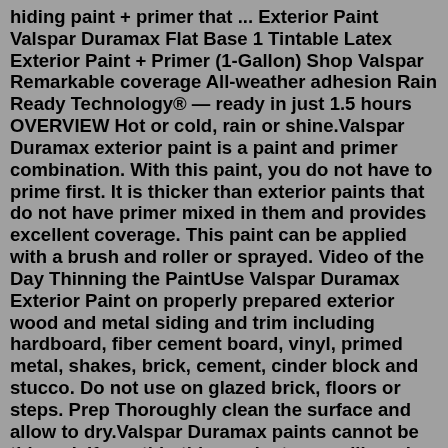hiding paint + primer that ... Exterior Paint Valspar Duramax Flat Base 1 Tintable Latex Exterior Paint + Primer (1-Gallon) Shop Valspar Remarkable coverage All-weather adhesion Rain Ready Technology® — ready in just 1.5 hours OVERVIEW Hot or cold, rain or shine.Valspar Duramax exterior paint is a paint and primer combination. With this paint, you do not have to prime first. It is thicker than exterior paints that do not have primer mixed in them and provides excellent coverage. This paint can be applied with a brush and roller or sprayed. Video of the Day Thinning the PaintUse Valspar Duramax Exterior Paint on properly prepared exterior wood and metal siding and trim including hardboard, fiber cement board, vinyl, primed metal, shakes, brick, cement, cinder block and stucco. Do not use on glazed brick, floors or steps. Prep Thoroughly clean the surface and allow to dry.Valspar Duramax paints cannot be thinned. If you thin this product, you will weaken the bonding agents and void the warranty. Is